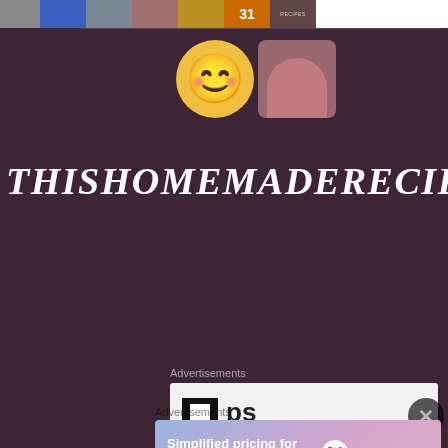[Figure (screenshot): Horizontal strip of thumbnail images at top of page]
[Figure (photo): Two circular avatar images: a smiley emoji face and a photo of a woman wearing a red hat]
THISHOMEMADERECIPES
Advertisements
[Figure (screenshot): Partial advertisement box with dark icon and 'ps' text on light background]
Advertisements
[Figure (screenshot): WordPress.com advertisement banner: 'Simplified pricing for everything you need.' with WordPress.com logo]